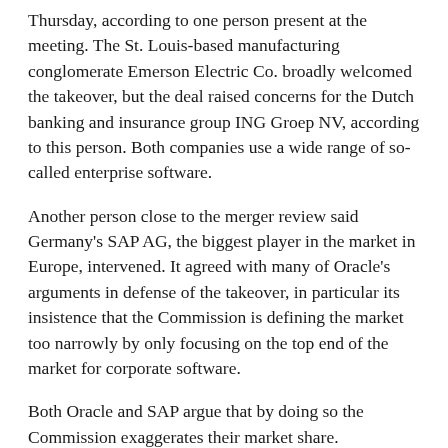Thursday, according to one person present at the meeting. The St. Louis-based manufacturing conglomerate Emerson Electric Co. broadly welcomed the takeover, but the deal raised concerns for the Dutch banking and insurance group ING Groep NV, according to this person. Both companies use a wide range of so-called enterprise software.
Another person close to the merger review said Germany's SAP AG, the biggest player in the market in Europe, intervened. It agreed with many of Oracle's arguments in defense of the takeover, in particular its insistence that the Commission is defining the market too narrowly by only focusing on the top end of the market for corporate software.
Both Oracle and SAP argue that by doing so the Commission exaggerates their market share.